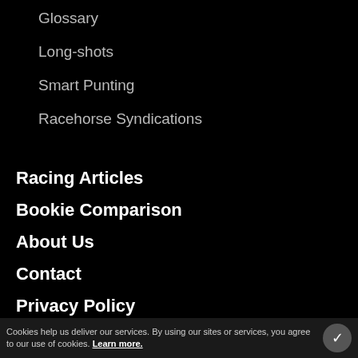Glossary
Long-shots
Smart Punting
Racehorse Syndications
Racing Articles
Bookie Comparison
About Us
Contact
Privacy Policy
Cookies help us deliver our services. By using our sites or services, you agree to our use of cookies. Learn more.